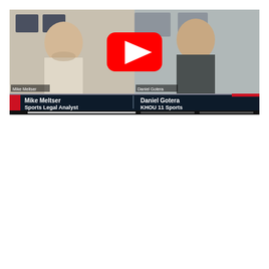[Figure (screenshot): YouTube video screenshot showing a two-person interview. Left person is a man with a beard in a light-colored shirt seated at a desk. Right person is a man in a dark gray shirt. A YouTube play button icon is overlaid in the center. Lower third graphic shows: 'Mike Meltser / Sports Legal Analyst' on the left and 'Daniel Gotera / KHOU 11 Sports' on the right, on a dark navy background with red and white accents. A video progress/control bar is visible at the bottom.]